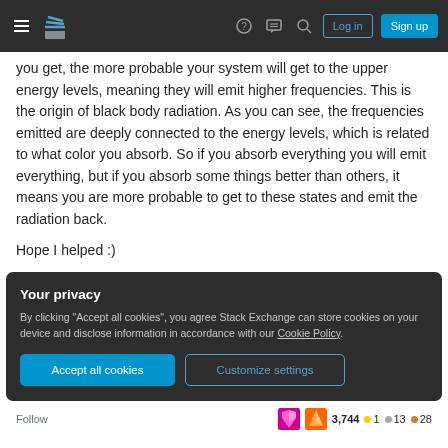Stack Exchange navigation bar with hamburger menu, logo, question mark, comments, search icons, Log in and Sign up buttons
you get, the more probable your system will get to the upper energy levels, meaning they will emit higher frequencies. This is the origin of black body radiation. As you can see, the frequencies emitted are deeply connected to the energy levels, which is related to what color you absorb. So if you absorb everything you will emit everything, but if you absorb some things better than others, it means you are more probable to get to these states and emit the radiation back.
Hope I helped :)
Your privacy
By clicking "Accept all cookies", you agree Stack Exchange can store cookies on your device and disclose information in accordance with our Cookie Policy.
Follow  3,744 ●1 ●13 ●28